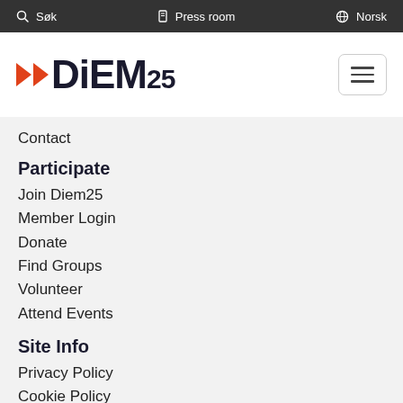Søk | Press room | Norsk
[Figure (logo): DiEM25 logo with red double arrow and bold text]
Contact
Participate
Join Diem25
Member Login
Donate
Find Groups
Volunteer
Attend Events
Site Info
Privacy Policy
Cookie Policy
Version
Follow